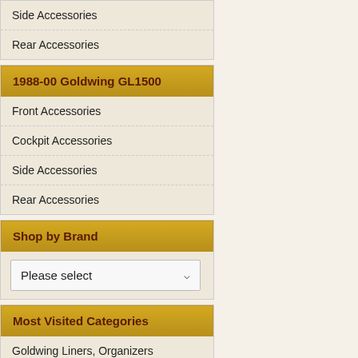Side Accessories
Rear Accessories
1988-00 Goldwing GL1500
Front Accessories
Cockpit Accessories
Side Accessories
Rear Accessories
Shop by Brand
Please select
Most Visited Categories
Goldwing Liners, Organizers
Goldwing Covers, Trike Cover
Goldwing Drink Hold...